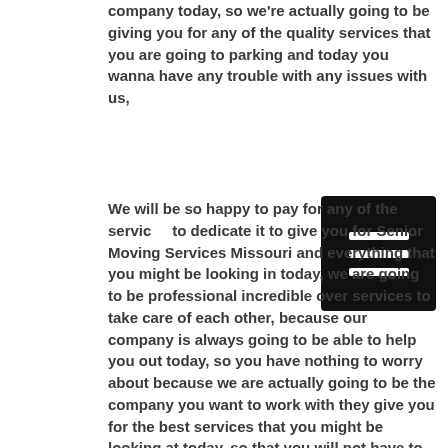company today, so we're actually going to be giving you for any of the quality services that you are going to parking and today you wanna have any trouble with any issues with us,
[Figure (other): Hamburger menu icon — black rectangle with three horizontal white lines]
We will be so happy to pay for any of the services to dedicate it to give you for Senior Moving Services Missouri and everything that you might be looking in today, we are going to be professional incredible over services to take care of each other, because our company is always going to be able to help you out today, so you have nothing to worry about because we are actually going to be the company you want to work with they give you for the best services that you might be looking at today, so that you will not have to go to struggle with any issues anymore because we're going to be the best company to give you any services that you might be looking for a company today,